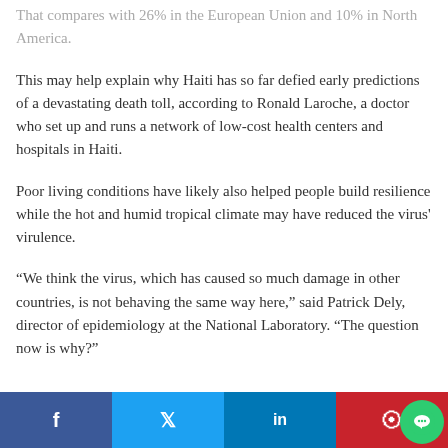That compares with 26% in the European Union and 10% in North America.
This may help explain why Haiti has so far defied early predictions of a devastating death toll, according to Ronald Laroche, a doctor who set up and runs a network of low-cost health centers and hospitals in Haiti.
Poor living conditions have likely also helped people build resilience while the hot and humid tropical climate may have reduced the virus' virulence.
“We think the virus, which has caused so much damage in other countries, is not behaving the same way here,” said Patrick Dely, director of epidemiology at the National Laboratory. “The question now is why?”